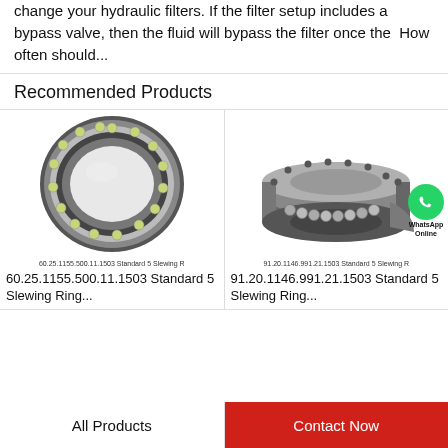change your hydraulic filters. If the filter setup includes a bypass valve, then the fluid will bypass the filter once the  How often should...
Recommended Products
[Figure (photo): Photo of a thin-section ball bearing ring (60.25.1155.500.11.1503 Standard 5 Slewing Ring)]
60.25.1155.500.11.1503 Standard 5 Slewing R
60.25.1155.500.11.1503 Standard 5 Slewing Ring...
[Figure (photo): Photo of a large slewing ring bearing with bolt holes (91.20.1146.991.21.1503 Standard 5 Slewing Ring), with WhatsApp Online badge overlay]
91.20.1146.991.21.1503 Standard 5 Slewing R
91.20.1146.991.21.1503 Standard 5 Slewing Ring...
All Products
Contact Now